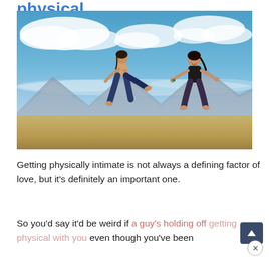physical
[Figure (photo): Two people jumping energetically outdoors under a blue sky with clouds, sandy/desert ground and mountains in the background. The left person is shirtless and appears to kick toward the right person, who is smiling with arms outstretched.]
Getting physically intimate is not always a defining factor of love, but it's definitely an important one.
So you'd say it'd be weird if a guy's holding off getting physical with you even though you've been dating for a while...